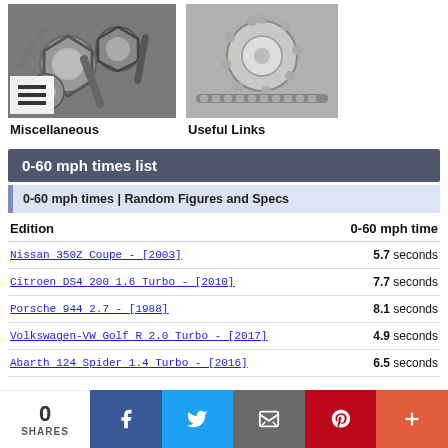[Figure (photo): Photo of metal nuts and bolts, silver/gray hardware]
Miscellaneous
[Figure (photo): Photo of a timing chain and sprocket gear, mechanical part]
Useful Links
0-60 mph times list
0-60 mph times | Random Figures and Specs
| Edition | 0-60 mph time |
| --- | --- |
| Nissan 350Z Coupe - [2003] | 5.7 seconds |
| Citroen DS4 200 1.6 Turbo - [2010] | 7.7 seconds |
| Porsche 944 2.7 - [1988] | 8.1 seconds |
| Volkswagen-VW Golf R 2.0 Turbo - [2017] | 4.9 seconds |
| Abarth 124 Spider 1.4 Turbo - [2016] | 6.5 seconds |
0 SHARES